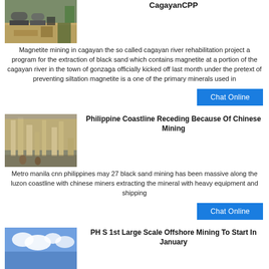CagayanCPP
[Figure (photo): Industrial mining equipment, cylindrical drum/ball mills outdoors]
Magnetite mining in cagayan the so called cagayan river rehabilitation project a program for the extraction of black sand which contains magnetite at a portion of the cagayan river in the town of gonzaga officially kicked off last month under the pretext of preventing siltation magnetite is a one of the primary minerals used in
Chat Online
Philippine Coastline Receding Because Of Chinese Mining
[Figure (photo): Industrial mineral processing equipment inside a factory/warehouse]
Metro manila cnn philippines may 27 black sand mining has been massive along the luzon coastline with chinese miners extracting the mineral with heavy equipment and shipping
Chat Online
PH S 1st Large Scale Offshore Mining To Start In January
[Figure (photo): Blue sky with white clouds]